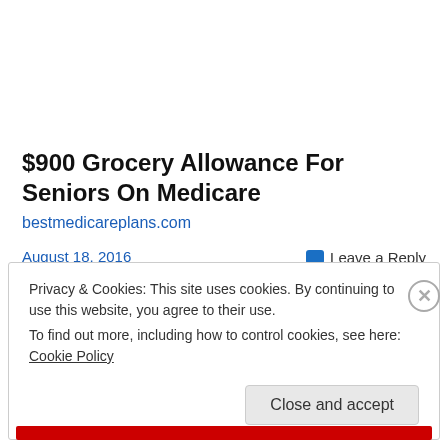$900 Grocery Allowance For Seniors On Medicare
bestmedicareplans.com
August 18, 2016
Leave a Reply
Privacy & Cookies: This site uses cookies. By continuing to use this website, you agree to their use.
To find out more, including how to control cookies, see here: Cookie Policy
Close and accept